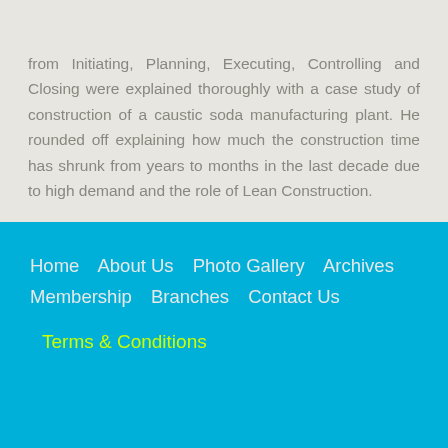from Initiating, Planning, Executing, Controlling and Closing were explained thoroughly with a case study of construction of a caustic soda manufacturing plant. He rounded off explaining how much the construction time has shrunk from years to months in the last decade due to high demand and the role of Lean Construction.
Home  About Us  Photo Gallery  Archives  Membership  Branches  Contact Us
Terms & Conditions